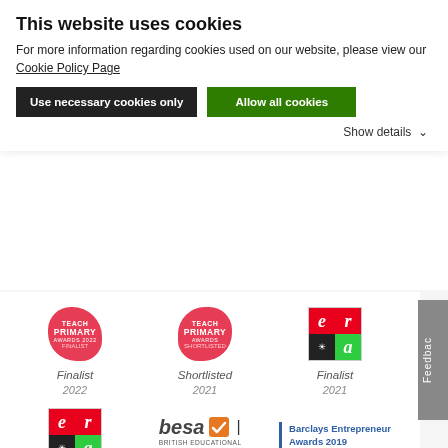This website uses cookies
For more information regarding cookies used on our website, please view our Cookie Policy Page
Use necessary cookies only
Allow all cookies
Show details
[Figure (logo): Teach Primary Awards 2022 Finalist badge (red blob shape)]
Finalist
2022
[Figure (logo): Teach Primary Awards 2021 Shortlisted badge (red blob shape)]
Shortlisted
2021
[Figure (logo): ERA (Education Resources Awards) logo 2021 - 4-square grid with e, r letters]
Finalist
2021
[Figure (logo): ERA (Education Resources Awards) logo 2020 - 4-square grid with e, r letters]
Finalist
2020
[Figure (logo): BESA British Educational Suppliers Association logo with orange tick]
Member
[Figure (logo): Barclays Entrepreneur Awards 2019 Finalist logo]
Finalist
2019
[Figure (logo): National Excellence in Business Awards 2019 - Employer of the Year]
Employer
of the Year